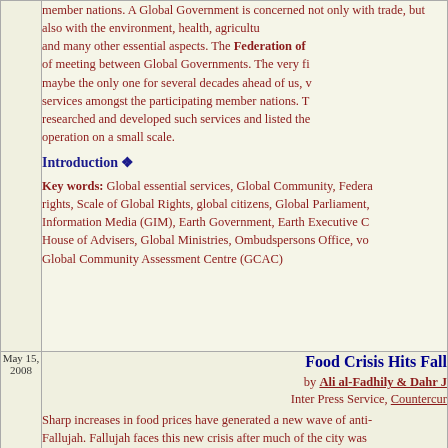member nations. A Global Government is concerned not only with trade, but also with the environment, health, agriculture, and many other essential aspects. The Federation of of meeting between Global Governments. The very fi maybe the only one for several decades ahead of us, v services amongst the participating member nations. T researched and developed such services and listed the operation on a small scale.
Introduction
Key words: Global essential services, Global Community, Federa rights, Scale of Global Rights, global citizens, Global Parliament, Information Media (GIM), Earth Government, Earth Executive C House of Advisers, Global Ministries, Ombudspersons Office, vo Global Community Assessment Centre (GCAC)
Food Crisis Hits Fall
by Ali al-Fadhily & Dahr J
Inter Press Service, Countercur
Sharp increases in food prices have generated a new wave of anti- Fallujah. Fallujah faces this new crisis after much of the city was 2004. The area around Fallujah city, which lies 70 km west of Ba most agriculturally productive in Iraq. Farmers planted tomatoes a grew potatoes south of the city near Amiriya. Both areas had plen plantations. Now production is down to a fraction of what it was. changing times. Residents say they are told of a world food crisi
May 15, 2008